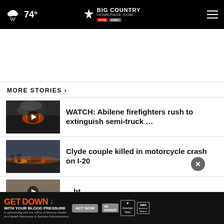74° Big Country Homepage
[Figure (screenshot): Advertisement banner area (blank white space)]
MORE STORIES ›
[Figure (photo): Thumbnail image of fire/smoke from semi-truck incident with play button overlay]
WATCH: Abilene firefighters rush to extinguish semi-truck …
[Figure (photo): Thumbnail image of motorcycle crash on I-20 scene]
Clyde couple killed in motorcycle crash on I-20
[Figure (photo): Thumbnail image of third story with play button overlay]
...ht,
[Figure (infographic): GET DOWN WITH YOUR BLOOD PRESSURE advertisement banner with ACT NOW button, ad council and AMA logos]